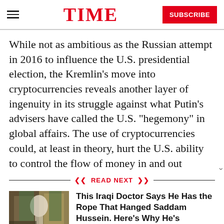TIME | SUBSCRIBE
While not as ambitious as the Russian attempt in 2016 to influence the U.S. presidential election, the Kremlin's move into cryptocurrencies reveals another layer of ingenuity in its struggle against what Putin's advisers have called the U.S. “hegemony” in global affairs. The use of cryptocurrencies could, at least in theory, hurt the U.S. ability to control the flow of money in and out
READ NEXT
This Iraqi Doctor Says He Has the Rope That Hanged Saddam Hussein. Here’s Why He’s Keeping It